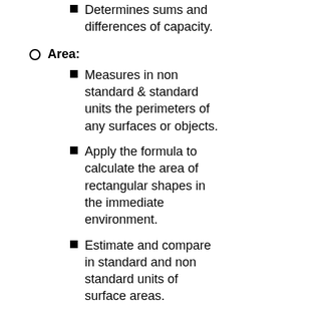Determines sums and differences of capacity.
Area:
Measures in non standard & standard units the perimeters of any surfaces or objects.
Apply the formula to calculate the area of rectangular shapes in the immediate environment.
Estimate and compare in standard and non standard units of surface areas.
Time:
Interprets a calendar.